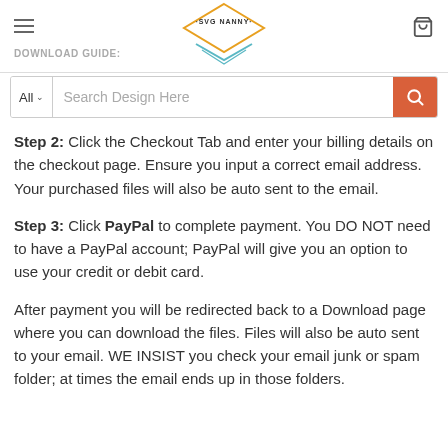SVG NANNY — DOWNLOAD GUIDE:
[Figure (logo): SVG Nanny logo with diamond/chevron shape and text SVG NANNY]
Search Design Here
Step 2: Click the Checkout Tab and enter your billing details on the checkout page. Ensure you input a correct email address. Your purchased files will also be auto sent to the email.
Step 3: Click PayPal to complete payment. You DO NOT need to have a PayPal account; PayPal will give you an option to use your credit or debit card.
After payment you will be redirected back to a Download page where you can download the files. Files will also be auto sent to your email. WE INSIST you check your email junk or spam folder; at times the email ends up in those folders.